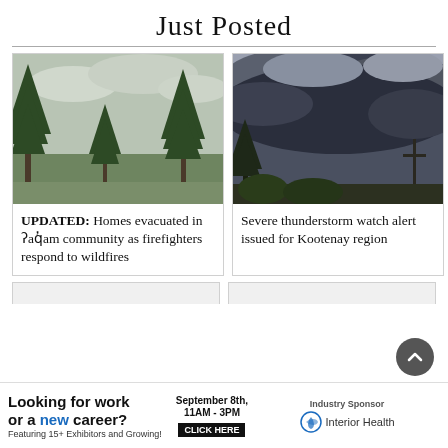Just Posted
[Figure (photo): Photo of pine trees against an overcast sky, landscape view]
UPDATED: Homes evacuated in ʔaq̓am community as firefighters respond to wildfires
[Figure (photo): Photo of dramatic dark storm clouds with a tree silhouette in the lower left]
Severe thunderstorm watch alert issued for Kootenay region
Looking for work or a new career? Featuring 15+ Exhibitors and Growing! September 8th, 11AM - 3PM CLICK HERE Industry Sponsor Interior Health